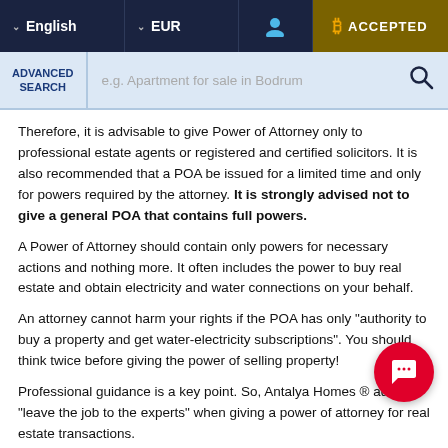English | EUR | [user icon] | ₿ ACCEPTED
ADVANCED SEARCH | e.g. Apartment for sale in Bodrum
Therefore, it is advisable to give Power of Attorney only to professional estate agents or registered and certified solicitors. It is also recommended that a POA be issued for a limited time and only for powers required by the attorney. It is strongly advised not to give a general POA that contains full powers.
A Power of Attorney should contain only powers for necessary actions and nothing more. It often includes the power to buy real estate and obtain electricity and water connections on your behalf.
An attorney cannot harm your rights if the POA has only "authority to buy a property and get water-electricity subscriptions". You should think twice before giving the power of selling property!
Professional guidance is a key point. So, Antalya Homes ® advises "leave the job to the experts" when giving a power of attorney for real estate transactions.
We have our own real estate power of attorney template. It is a sp[ecial pow]er of attorney for real estate purchases in Turkey. It contains the nec[essary] authorizations for a comfortable process.
Antalya Homes ® makes the process easy and safe for you with our Zero...